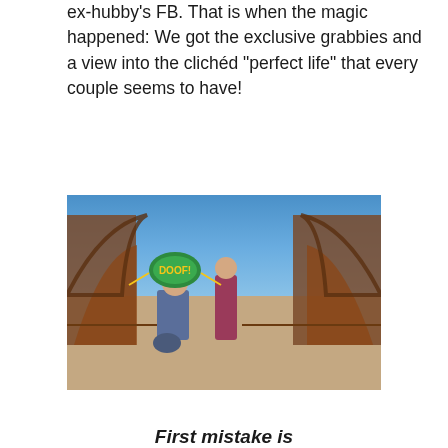ex-hubby's FB. That is when the magic happened: We got the exclusive grabbies and a view into the clichéd "perfect life" that every couple seems to have!
[Figure (photo): A man kneeling on one knee proposing to a woman on a bridge outdoors. The man has a cartoon 'DOOF' planet/emoji sticker over his face. The bridge has rusty metal arched railings, blue sky in background with bare trees.]
First mistake is